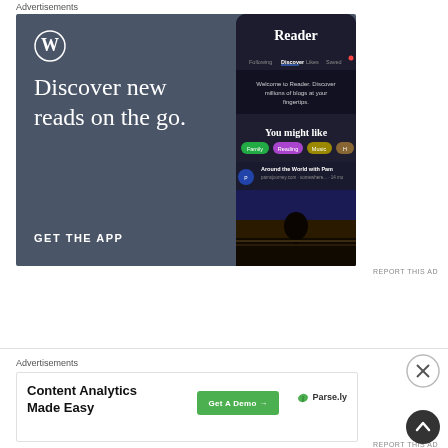Advertisements
[Figure (screenshot): WordPress.com Reader app advertisement with dark slate background. Large serif text reads 'Discover new reads on the go.' with WordPress logo at top left. Right side shows a smartphone mockup with the Reader app open, showing tabs (Following, Discover, Likes, Saved), welcome message, topic chips (Family, Reading, Music) and blog post preview. Bottom left says 'GET THE APP' in white.]
REPORT THIS AD
Advertisements
[Figure (screenshot): Parse.ly advertisement banner. Bold text 'Content Analytics Made Easy' on left, green 'Get A Demo →' button in center, Parse.ly logo with leaf icon on right, all on white background.]
REPORT THIS AD